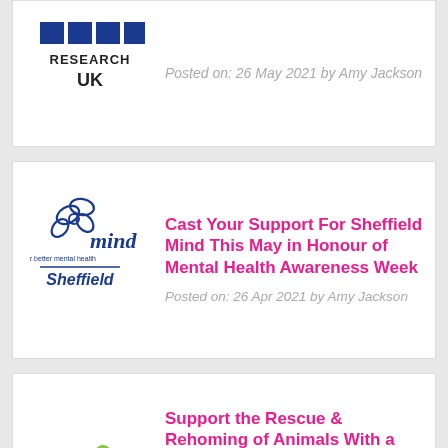[Figure (logo): Partial top card with a Research UK logo (blue blocks and text)]
Posted on: 26 May 2021 by Amy Jackson
[Figure (logo): Sheffield Mind logo - blue butterfly/flower and 'mind for better mental health Sheffield' text]
Cast Your Support For Sheffield Mind This May in Honour of Mental Health Awareness Week
Posted on: 26 Apr 2021 by Amy Jackson
[Figure (logo): Margaret Green Animal Rescue logo - colourful animals silhouettes]
Support the Rescue & Rehoming of Animals With a Vote for Margaret Green Animal Rescue This May